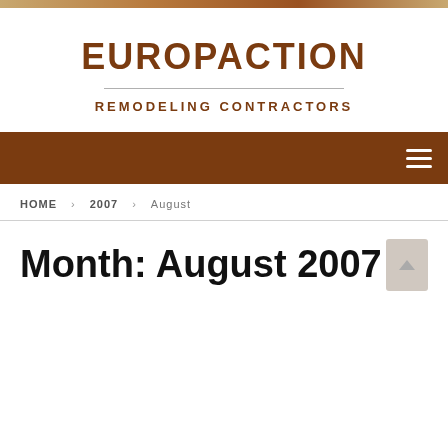EUROPACTION
REMODELING CONTRACTORS
HOME  2007  August
Month: August 2007